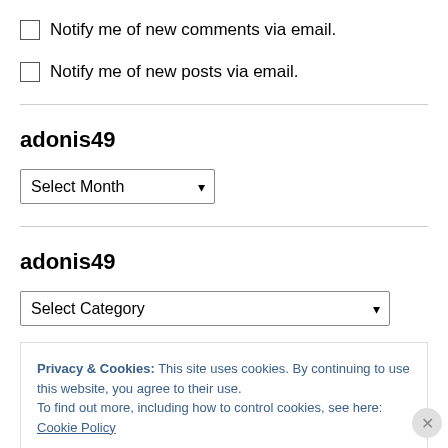Notify me of new comments via email.
Notify me of new posts via email.
adonis49
Select Month
adonis49
Select Category
Privacy & Cookies: This site uses cookies. By continuing to use this website, you agree to their use.
To find out more, including how to control cookies, see here: Cookie Policy
Close and accept